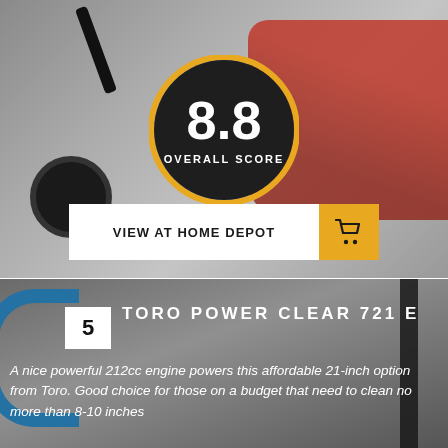[Figure (photo): Red and black snowblower machine on gray background with an overall score badge showing 8.8]
8.8
OVERALL SCORE
VIEW AT HOME DEPOT
[Figure (photo): Close-up of Toro Power Clear 721 E snowblower with blue handles and dark frame on gray background]
5  TORO POWER CLEAR 721 E
A nice powerful 212cc engine powers this affordable 21-inch option from Toro. Good choice for those on a budget that need to clean no more than 8-10 inches